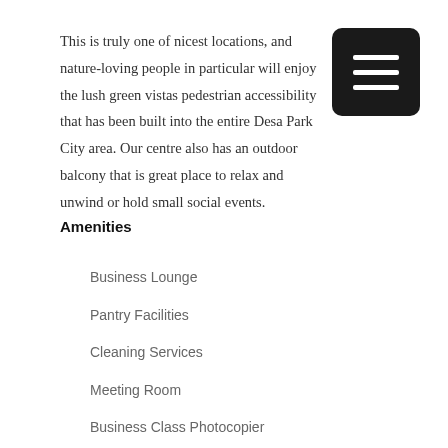This is truly one of nicest locations, and nature-loving people in particular will enjoy the lush green vistas and pedestrian accessibility that has been built into the entire Desa Park City area. Our centre also has an outdoor balcony that is great place to relax and unwind or hold small social events.
Amenities
Business Lounge
Pantry Facilities
Cleaning Services
Meeting Room
Business Class Photocopier